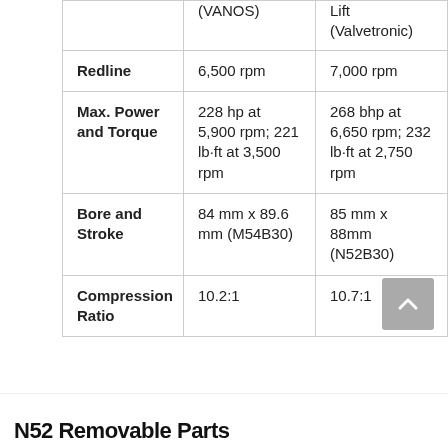|  | M54 (VANOS) | Variable Valve Lift (Valvetronic) |
| --- | --- | --- |
| Redline | 6,500 rpm | 7,000 rpm |
| Max. Power and Torque | 228 hp at 5,900 rpm; 221 lb·ft at 3,500 rpm | 268 bhp at 6,650 rpm; 232 lb·ft at 2,750 rpm |
| Bore and Stroke | 84 mm x 89.6 mm (M54B30) | 85 mm x 88mm (N52B30) |
| Compression Ratio | 10.2:1 | 10.7:1 |
N52 Removable Parts